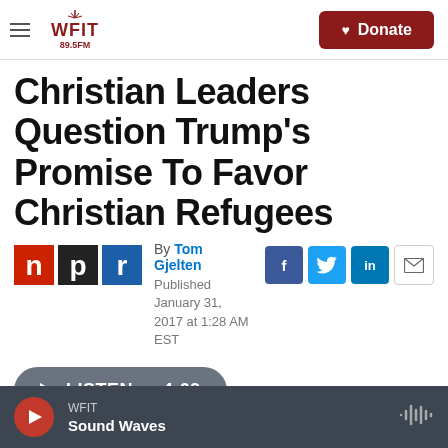WFIT 89.5FM — Donate button
Christian Leaders Question Trump's Promise To Favor Christian Refugees
By Tom Gjelten
Published January 31, 2017 at 1:28 AM EST
[Figure (logo): NPR logo — n p r in red, black, blue blocks]
LISTEN • 4:09
WFIT Sound Waves — player bar with play button and waveform icon